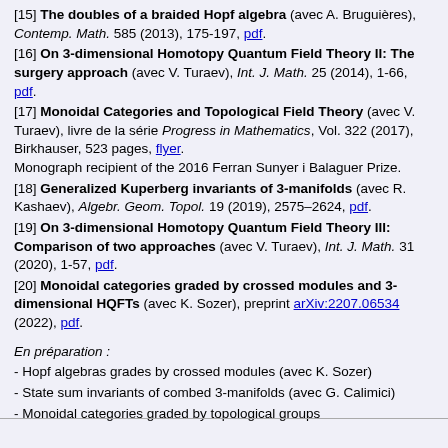[15] The doubles of a braided Hopf algebra (avec A. Bruguières), Contemp. Math. 585 (2013), 175-197, pdf.
[16] On 3-dimensional Homotopy Quantum Field Theory II: The surgery approach (avec V. Turaev), Int. J. Math. 25 (2014), 1-66, pdf.
[17] Monoidal Categories and Topological Field Theory (avec V. Turaev), livre de la série Progress in Mathematics, Vol. 322 (2017), Birkhauser, 523 pages, flyer. Monograph recipient of the 2016 Ferran Sunyer i Balaguer Prize.
[18] Generalized Kuperberg invariants of 3-manifolds (avec R. Kashaev), Algebr. Geom. Topol. 19 (2019), 2575–2624, pdf.
[19] On 3-dimensional Homotopy Quantum Field Theory III: Comparison of two approaches (avec V. Turaev), Int. J. Math. 31 (2020), 1-57, pdf.
[20] Monoidal categories graded by crossed modules and 3-dimensional HQFTs (avec K. Sozer), preprint arXiv:2207.06534 (2022), pdf.
En préparation :
- Hopf algebras grades by crossed modules (avec K. Sozer)
- State sum invariants of combed 3-manifolds (avec G. Calimici)
- Monoidal categories graded by topological groups